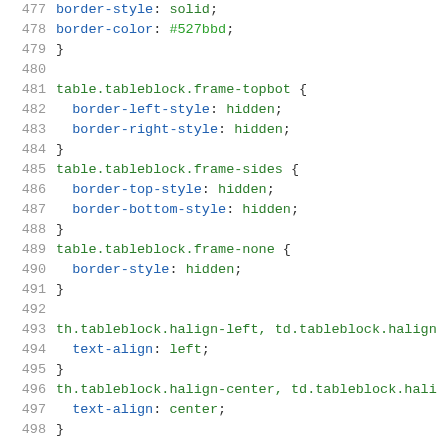477   border-style: solid;
478   border-color: #527bbd;
479 }
480
481 table.tableblock.frame-topbot {
482   border-left-style: hidden;
483   border-right-style: hidden;
484 }
485 table.tableblock.frame-sides {
486   border-top-style: hidden;
487   border-bottom-style: hidden;
488 }
489 table.tableblock.frame-none {
490   border-style: hidden;
491 }
492
493 th.tableblock.halign-left, td.tableblock.halign
494   text-align: left;
495 }
496 th.tableblock.halign-center, td.tableblock.hali
497   text-align: center;
498 }